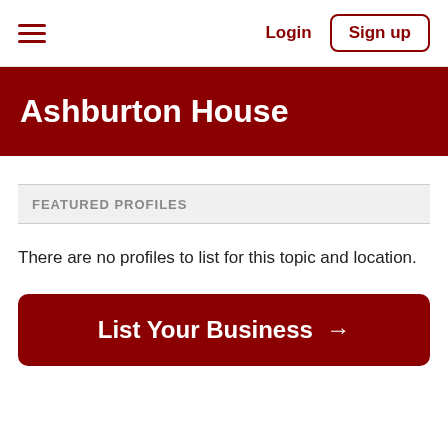Login  Sign up
Ashburton House
FEATURED PROFILES
There are no profiles to list for this topic and location.
List Your Business →